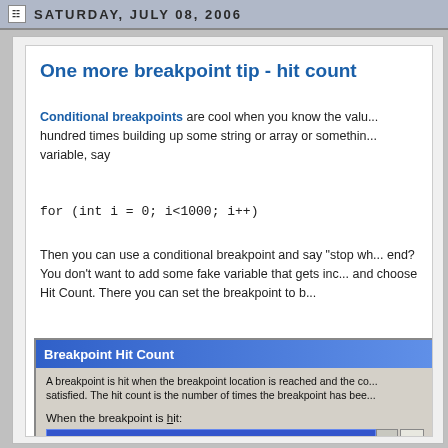SATURDAY, JULY 08, 2006
One more breakpoint tip - hit count
Conditional breakpoints are cool when you know the value. But what if you're looping a hundred times building up some string or array or something. But the problem happens near the end, say variable, say
Then you can use a conditional breakpoint and say "stop wh... end? You don't want to add some fake variable that gets inc... and choose Hit Count. There you can set the breakpoint to b...
[Figure (screenshot): Breakpoint Hit Count dialog box showing: description text about breakpoint hit count, a dropdown set to 'break when the hit count is a multiple of', Current hit count: 0, and Reset / OK buttons.]